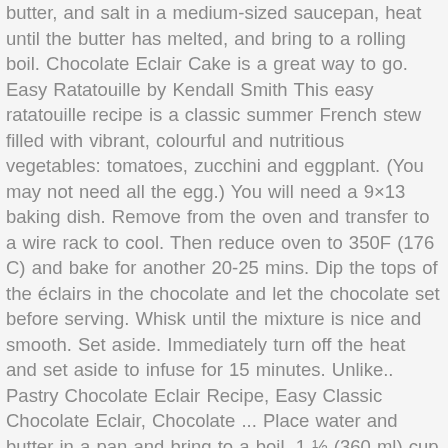butter, and salt in a medium-sized saucepan, heat until the butter has melted, and bring to a rolling boil. Chocolate Eclair Cake is a great way to go. Easy Ratatouille by Kendall Smith This easy ratatouille recipe is a classic summer French stew filled with vibrant, colourful and nutritious vegetables: tomatoes, zucchini and eggplant. (You may not need all the egg.) You will need a 9×13 baking dish. Remove from the oven and transfer to a wire rack to cool. Then reduce oven to 350F (176 C) and bake for another 20-25 mins. Dip the tops of the éclairs in the chocolate and let the chocolate set before serving. Whisk until the mixture is nice and smooth. Set aside. Immediately turn off the heat and set aside to infuse for 15 minutes. Unlike.. Pastry Chocolate Eclair Recipe, Easy Classic Chocolate Eclair, Chocolate ... Place water and butter in a pan and bring to a boil. 1 ½ (360 ml) cup semi Sweet Chocolate Chips. Make small incisions (1/2 inch) in the side of each eclair to release the steam. Pipe out 1 4- inch line Form into place with a wet spoon or wet fingers. Bake 400F/(200 C) 15 mins. Spread 1/2 filling